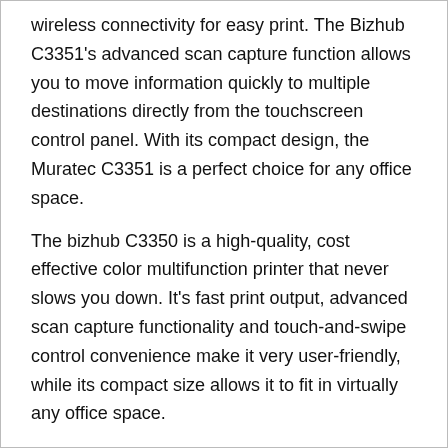wireless connectivity for easy print. The Bizhub C3351's advanced scan capture function allows you to move information quickly to multiple destinations directly from the touchscreen control panel. With its compact design, the Muratec C3351 is a perfect choice for any office space.
The bizhub C3350 is a high-quality, cost effective color multifunction printer that never slows you down. It's fast print output, advanced scan capture functionality and touch-and-swipe control convenience make it very user-friendly, while its compact size allows it to fit in virtually any office space.
Full color print speeds up to 35 pages-per-minute
Advanced scan capture functionality right from the color touchscreen control panel